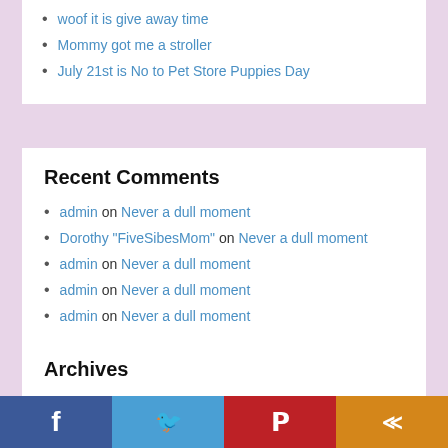woof it is give away time
Mommy got me a stroller
July 21st is No to Pet Store Puppies Day
Recent Comments
admin on Never a dull moment
Dorothy "FiveSibesMom" on Never a dull moment
admin on Never a dull moment
admin on Never a dull moment
admin on Never a dull moment
Archives
August 2022
Facebook Twitter Pinterest Share